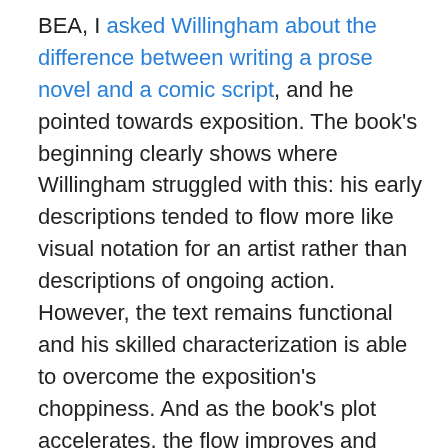BEA, I asked Willingham about the difference between writing a prose novel and a comic script, and he pointed towards exposition. The book's beginning clearly shows where Willingham struggled with this: his early descriptions tended to flow more like visual notation for an artist rather than descriptions of ongoing action. However, the text remains functional and his skilled characterization is able to overcome the exposition's choppiness. And as the book's plot accelerates, the flow improves and Willingham loses the stilted declarative style that predominated early on. By the book's mid-point, sentences and paragraphs are flowing smoothly.
The other weakness that stood out to me in the writing was an occasional tendency to over-write. Honestly, I see this as less of a failure on the part of Willingham's writing as on the part of his editor's line-editing; good MG/YA